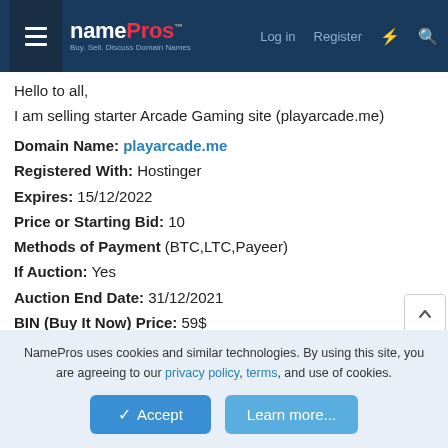NamePros - Buy, Sell, Discuss Domain Names | Log in | Register
Hello to all,
I am selling starter Arcade Gaming site (playarcade.me)
Domain Name: playarcade.me
Registered With: Hostinger
Expires: 15/12/2022
Price or Starting Bid: 10
Methods of Payment (BTC,LTC,Payeer)
If Auction: Yes
Auction End Date: 31/12/2021
BIN (Buy It Now) Price: 59$
Proof of ownership:
[Figure (screenshot): Partial screenshot of domain ownership proof image (cropped)]
NamePros uses cookies and similar technologies. By using this site, you are agreeing to our privacy policy, terms, and use of cookies.